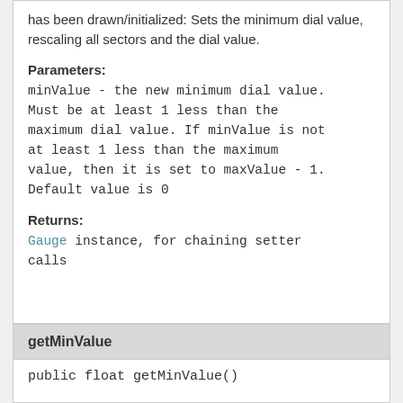has been drawn/initialized: Sets the minimum dial value, rescaling all sectors and the dial value.
Parameters:
minValue - the new minimum dial value. Must be at least 1 less than the maximum dial value. If minValue is not at least 1 less than the maximum value, then it is set to maxValue - 1. Default value is 0
Returns:
Gauge instance, for chaining setter calls
getMinValue
public float getMinValue()